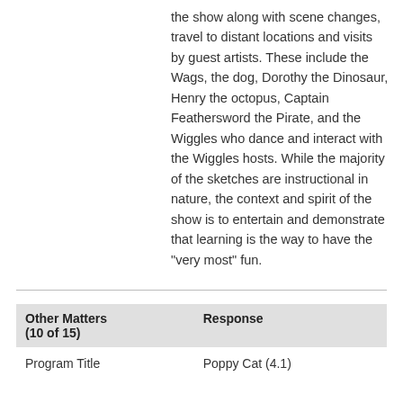the show along with scene changes, travel to distant locations and visits by guest artists. These include the Wags, the dog, Dorothy the Dinosaur, Henry the octopus, Captain Feathersword the Pirate, and the Wiggles who dance and interact with the Wiggles hosts. While the majority of the sketches are instructional in nature, the context and spirit of the show is to entertain and demonstrate that learning is the way to have the "very most" fun.
| Other Matters (10 of 15) | Response |
| --- | --- |
| Program Title | Poppy Cat (4.1) |